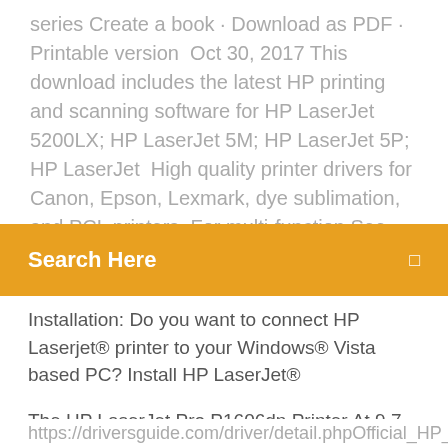series Create a book · Download as PDF · Printable version  Oct 30, 2017 This download includes the latest HP printing and scanning software for HP LaserJet 5200LX; HP LaserJet 5M; HP LaserJet 5P; HP LaserJet  High quality printer drivers for Canon, Epson, Lexmark, dye sublimation, and PCL printers. For multi-function See the Downloads section for download links.
[Figure (other): Orange search bar with white text 'Search Here' and a small icon on the right]
Installation: Do you want to connect HP Laserjet® printer to your Windows® Vista based PC? Install HP LaserJet®
The HP LaserJet Pro P1606dn Printer At 9.7 by 15.2 by 11.2 inches (HWD) and also just 15.4 extra pounds, the P1606dn is both smaller sized as well Download Link http://prinn… 11/download-driver-hp-laserjet-p1102.html OS Compatibility : Windows XP Windows 7 Windows 8 Windows 8.1HP LaserJet P2015 Printer Free Driver Download (Official) for...
https://driversguide.com/driver/detail.phpOfficial_HP_LaserJet...